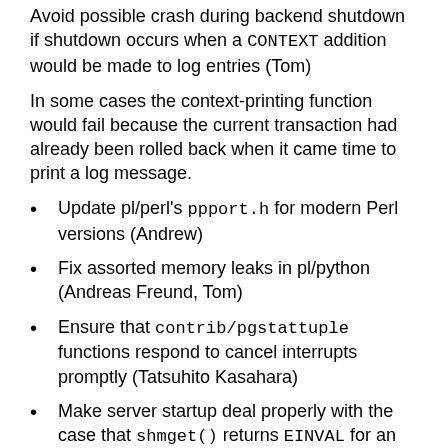Avoid possible crash during backend shutdown if shutdown occurs when a CONTEXT addition would be made to log entries (Tom)
In some cases the context-printing function would fail because the current transaction had already been rolled back when it came time to print a log message.
Update pl/perl's ppport.h for modern Perl versions (Andrew)
Fix assorted memory leaks in pl/python (Andreas Freund, Tom)
Ensure that contrib/pgstattuple functions respond to cancel interrupts promptly (Tatsuhito Kasahara)
Make server startup deal properly with the case that shmget() returns EINVAL for an existing shared memory segment (Tom)
This behavior has been observed on BSD-derived kernels including OS X. It resulted in an entirely misleading startup